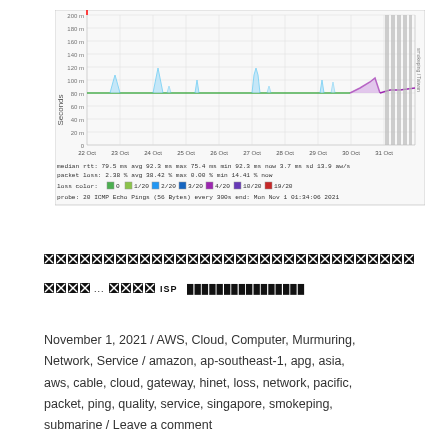[Figure (continuous-plot): Smokeping network latency chart showing RTT over time from 22 Oct to 31 Oct 2021. Y-axis shows seconds (0 to 200ms). Green baseline around 80ms with periodic blue spikes. Gray vertical bars appear at the right end. Below chart: median rtt 79.5ms avg, 92.3ms max, 75.4ms min, 92.3ms now, 3.7ms sd, 13.9 aw/s. Packet loss: 2.38% avg, 38.42% max, 0.00% min, 14.41% now. Loss color legend: 0, 1/20, 2/20, 3/20, 4/20, 10/20, 19/20. Probe: 20 ICMP Echo Pings (56 Bytes) every 300s, end: Mon Nov 1 01:34:06 2021.]
████████████████████████████████ ████... ████ ISP ████████████████
November 1, 2021 / AWS, Cloud, Computer, Murmuring, Network, Service / amazon, ap-southeast-1, apg, asia, aws, cable, cloud, gateway, hinet, loss, network, pacific, packet, ping, quality, service, singapore, smokeping, submarine / Leave a comment